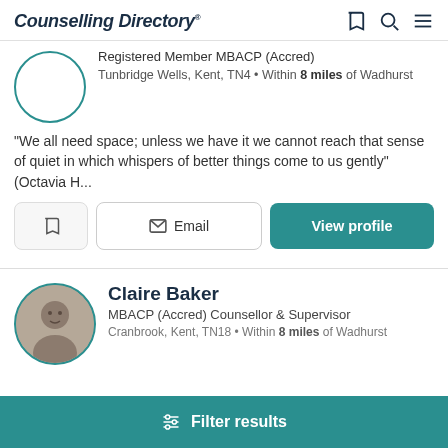Counselling Directory
Registered Member MBACP (Accred)
Tunbridge Wells, Kent, TN4 • Within 8 miles of Wadhurst
“We all need space; unless we have it we cannot reach that sense of quiet in which whispers of better things come to us gently” (Octavia H...
Email  |  View profile
Claire Baker
MBACP (Accred) Counsellor & Supervisor
Cranbrook, Kent, TN18 • Within 8 miles of Wadhurst
Filter results